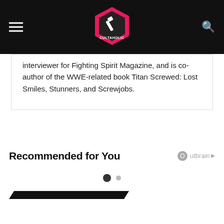Cultaholic
interviewer for Fighting Spirit Magazine, and is co-author of the WWE-related book Titan Screwed: Lost Smiles, Stunners, and Screwjobs.
Recommended for You
[Figure (logo): Outbrain logo with orange circle O and play triangle icon]
[Figure (other): Two pagination dots, one large filled dark and one smaller grey]
[Figure (other): Black diagonal bar/stripe element]